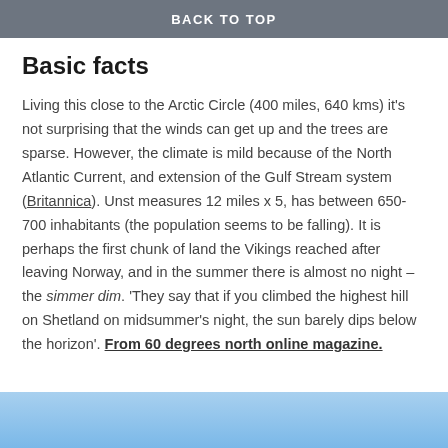BACK TO TOP
Basic facts
Living this close to the Arctic Circle (400 miles, 640 kms) it's not surprising that the winds can get up and the trees are sparse. However, the climate is mild because of the North Atlantic Current, and extension of the Gulf Stream system (Britannica). Unst measures 12 miles x 5, has between 650-700 inhabitants (the population seems to be falling). It is perhaps the first chunk of land the Vikings reached after leaving Norway, and in the summer there is almost no night – the simmer dim. 'They say that if you climbed the highest hill on Shetland on midsummer's night, the sun barely dips below the horizon'. From 60 degrees north online magazine.
[Figure (photo): Blue sky photo strip at the bottom of the page]